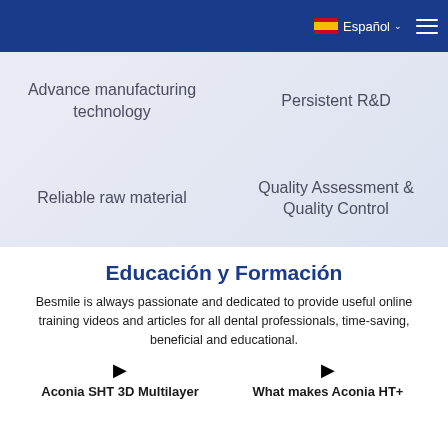Español  ☰
Advance manufacturing technology
Persistent R&D
Reliable raw material
Quality Assessment & Quality Control
Educación y Formación
Besmile is always passionate and dedicated to provide useful online training videos and articles for all dental professionals, time-saving, beneficial and educational.
Aconia SHT 3D Multilayer
What makes Aconia HT+